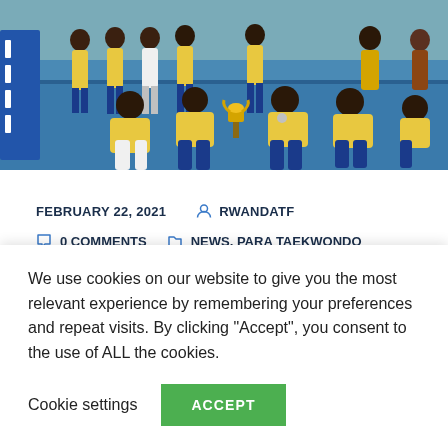[Figure (photo): Group of athletes in yellow and blue Rwandan taekwondo uniforms sitting on a blue mat, holding a trophy, with officials standing behind them]
FEBRUARY 22, 2021   RWANDATF
0 COMMENTS   NEWS, PARA TAEKWONDO
National team gear up for
We use cookies on our website to give you the most relevant experience by remembering your preferences and repeat visits. By clicking "Accept", you consent to the use of ALL the cookies.
Cookie settings   ACCEPT